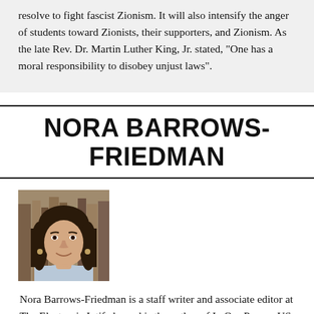resolve to fight fascist Zionism. It will also intensify the anger of students toward Zionists, their supporters, and Zionism. As the late Rev. Dr. Martin Luther King, Jr. stated, "One has a moral responsibility to disobey unjust laws".
NORA BARROWS-FRIEDMAN
[Figure (photo): Portrait photo of Nora Barrows-Friedman, a woman with long dark brown hair, smiling, wearing earrings]
Nora Barrows-Friedman is a staff writer and associate editor at The Electronic Intifada, and is the author of In Our Power: US Students Organize for Justice in Palestine (Just World